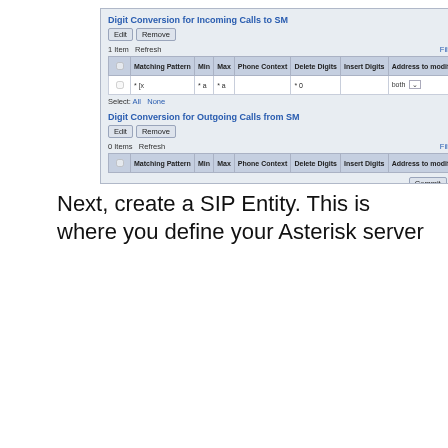[Figure (screenshot): Web UI screenshot showing 'Digit Conversion for Incoming Calls to SM' table with one entry and 'Digit Conversion for Outgoing Calls from SM' table with zero entries. Includes Edit/Remove buttons, filter controls, and Commit/Cancel buttons.]
Next, create a SIP Entity. This is where you define your Asterisk server
[Figure (screenshot): Web UI screenshot showing SIP Entity Details form with sidebar navigation (Routing, Domains, Locations, Adaptations, SIP Entities, Entity Links, Time Ranges, Routing Policies, Dial Patterns, Regular Expressions, Defaults). Form fields include Name: asterisk-5001p, FQDN or IP address: 172.25.14.131, Type: SIP Trunk, Adaptation: LA-MAIN-DN, Location: LA-Asterisk, Time Zone: America/Los_Angeles, SIP Timer B/F: 4, Call Detail Recording: none, SIP Link Monitoring: Link Monitoring Enabled, Proactive Monitoring Interval: 900, Reactive Monitoring Interval: 120.]